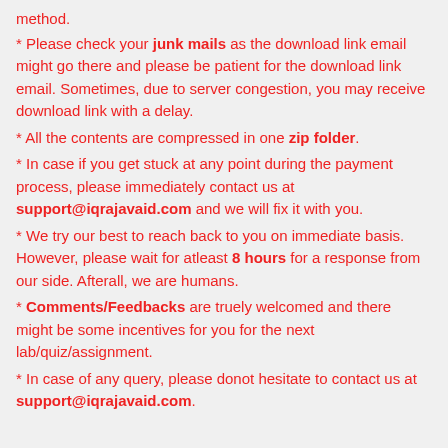method.
* Please check your junk mails as the download link email might go there and please be patient for the download link email. Sometimes, due to server congestion, you may receive download link with a delay.
* All the contents are compressed in one zip folder.
* In case if you get stuck at any point during the payment process, please immediately contact us at support@iqrajavaid.com and we will fix it with you.
* We try our best to reach back to you on immediate basis. However, please wait for atleast 8 hours for a response from our side. Afterall, we are humans.
* Comments/Feedbacks are truely welcomed and there might be some incentives for you for the next lab/quiz/assignment.
* In case of any query, please donot hesitate to contact us at support@iqrajavaid.com.